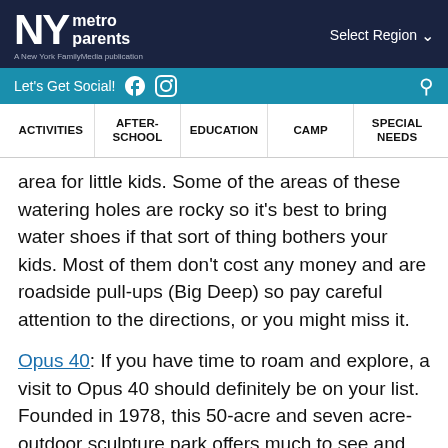NY metro parents — A New York FamilyMedia publication | Select Region
Let's Get Social!
ACTIVITIES | AFTER-SCHOOL | EDUCATION | CAMP | SPECIAL NEEDS
area for little kids. Some of the areas of these watering holes are rocky so it's best to bring water shoes if that sort of thing bothers your kids. Most of them don't cost any money and are roadside pull-ups (Big Deep) so pay careful attention to the directions, or you might miss it.
Opus 40: If you have time to roam and explore, a visit to Opus 40 should definitely be on your list. Founded in 1978, this 50-acre and seven acre-outdoor sculpture park offers much to see and do, including walkable trails, forested paths, a gallery, museum, and of course